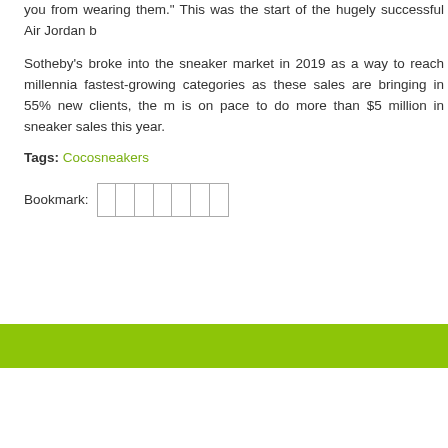you from wearing them." This was the start of the hugely successful Air Jordan b
Sotheby's broke into the sneaker market in 2019 as a way to reach millennia fastest-growing categories as these sales are bringing in 55% new clients, the m is on pace to do more than $5 million in sneaker sales this year.
Tags: Cocosneakers
[Figure (other): Bookmark label with a row of empty boxes (social sharing icons placeholder)]